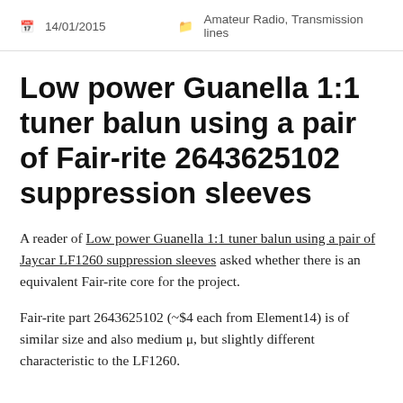📅 14/01/2015  🗀 Amateur Radio, Transmission lines
Low power Guanella 1:1 tuner balun using a pair of Fair-rite 2643625102 suppression sleeves
A reader of Low power Guanella 1:1 tuner balun using a pair of Jaycar LF1260 suppression sleeves asked whether there is an equivalent Fair-rite core for the project.
Fair-rite part 2643625102 (~$4 each from Element14) is of similar size and also medium μ, but slightly different characteristic to the LF1260.